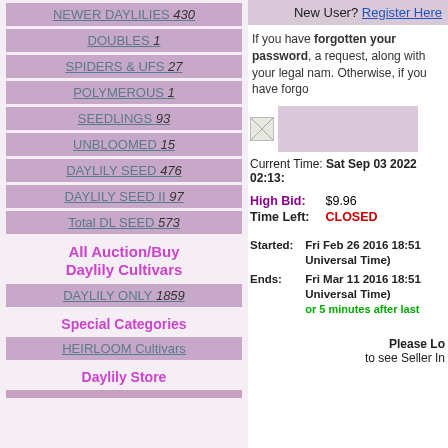NEWER DAYLILIES 430
DOUBLES 1
SPIDERS & UFS 27
POLYMEROUS 1
SEEDLINGS 93
UNBLOOMED 15
DAYLILY SEED 476
DAYLILY SEED II 97
Total DL SEED 573
All Auction/Buy Daylily Cultivars
DAYLILY ONLY 1859
Special Categories
HEIRLOOM Cultivars
Daylily Store
New User? Register Here
If you have forgotten your password, a request, along with your legal nam. Otherwise, if you have forgo
Current Time: Sat Sep 03 2022 02:13:
High Bid: $9.96
Time Left: CLOSED
Started: Fri Feb 26 2016 18:51 Universal Time)
Ends: Fri Mar 11 2016 18:51 Universal Time) or 5 minutes after last
Please Lo to see Seller In